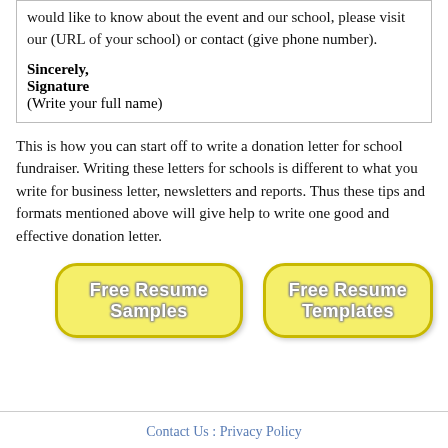would like to know about the event and our school, please visit our (URL of your school) or contact (give phone number).

Sincerely,
Signature
(Write your full name)
This is how you can start off to write a donation letter for school fundraiser. Writing these letters for schools is different to what you write for business letter, newsletters and reports. Thus these tips and formats mentioned above will give help to write one good and effective donation letter.
[Figure (other): Two yellow rounded rectangle buttons: 'Free Resume Samples' and 'Free Resume Templates']
Contact Us : Privacy Policy